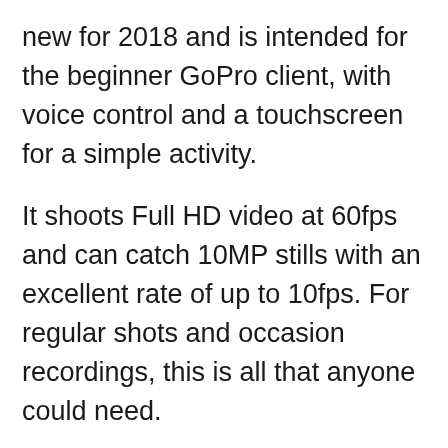new for 2018 and is intended for the beginner GoPro client, with voice control and a touchscreen for a simple activity.
It shoots Full HD video at 60fps and can catch 10MP stills with an excellent rate of up to 10fps. For regular shots and occasion recordings, this is all that anyone could need.
The no-fuss model was launched, keeping beginner and intermediate users in mind. The camera has a very simple design, which makes it a must-have if you are a beginner. It comes with a rubberized matt finish like its earlier